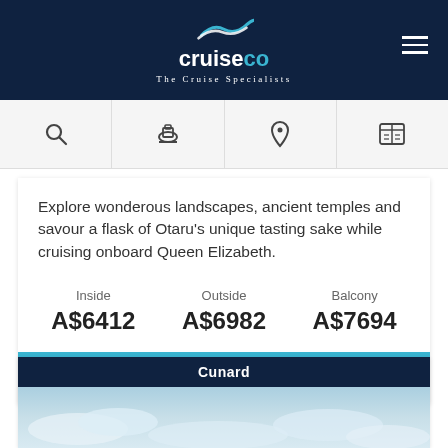cruiseco — The Cruise Specialists
Explore wonderous landscapes, ancient temples and savour a flask of Otaru's unique tasting sake while cruising onboard Queen Elizabeth.
| Inside | Outside | Balcony |
| --- | --- | --- |
| A$6412 | A$6982 | A$7694 |
Find Out More
Cunard